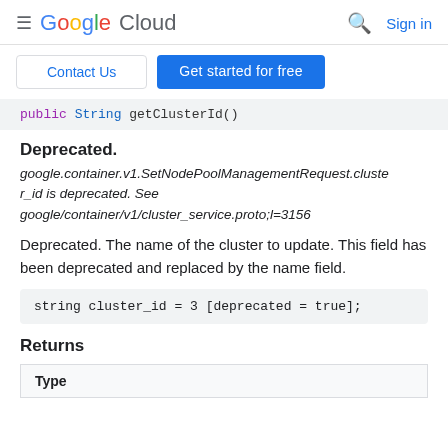Google Cloud — Sign in
Contact Us | Get started for free
public String getClusterId()
Deprecated.
google.container.v1.SetNodePoolManagementRequest.cluster_id is deprecated. See google/container/v1/cluster_service.proto;l=3156
Deprecated. The name of the cluster to update. This field has been deprecated and replaced by the name field.
string cluster_id = 3 [deprecated = true];
Returns
| Type |
| --- |